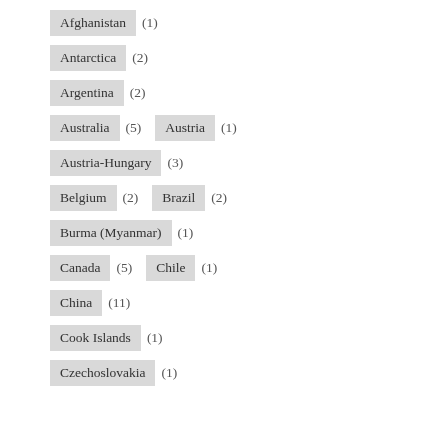Afghanistan (1)
Antarctica (2)
Argentina (2)
Australia (5)  Austria (1)
Austria-Hungary (3)
Belgium (2)  Brazil (2)
Burma (Myanmar) (1)
Canada (5)  Chile (1)
China (11)
Cook Islands (1)
Czechoslovakia (1)